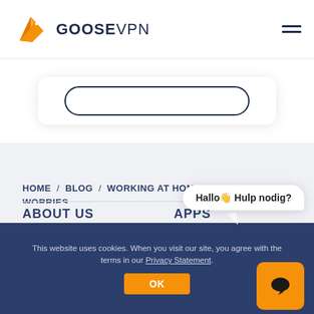[Figure (logo): GooseVPN logo with orange origami goose icon and bold GOOSEVPN text]
[Figure (screenshot): Partial card UI with a pill-shaped outline button visible at top, rounded card]
HOME / BLOG / WORKING AT HOME WITHOUT ANY WORRIES
ABOUT US
APPS
Hallo👋 Hulp nodig?
This website uses cookies. When you visit our site, you agree with the terms in our Privacy Statement.
OK